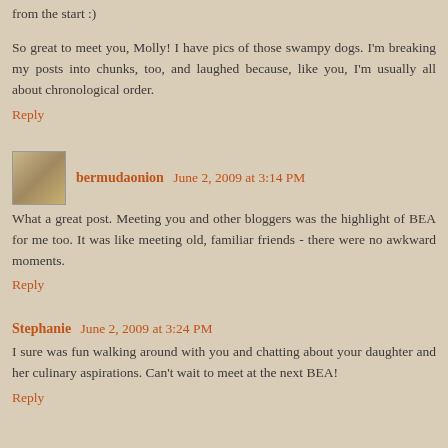from the start :)
So great to meet you, Molly! I have pics of those swampy dogs. I'm breaking my posts into chunks, too, and laughed because, like you, I'm usually all about chronological order.
Reply
bermudaonion June 2, 2009 at 3:14 PM
What a great post. Meeting you and other bloggers was the highlight of BEA for me too. It was like meeting old, familiar friends - there were no awkward moments.
Reply
Stephanie June 2, 2009 at 3:24 PM
I sure was fun walking around with you and chatting about your daughter and her culinary aspirations. Can't wait to meet at the next BEA!
Reply